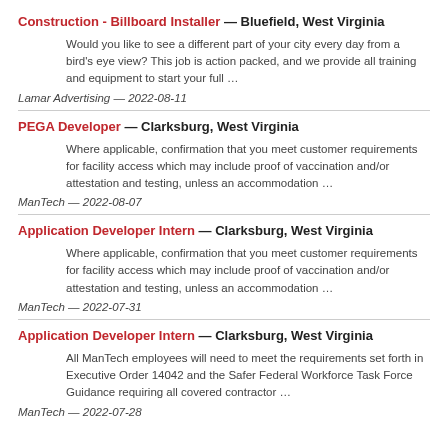Construction - Billboard Installer — Bluefield, West Virginia
Would you like to see a different part of your city every day from a bird's eye view? This job is action packed, and we provide all training and equipment to start your full …
Lamar Advertising — 2022-08-11
PEGA Developer — Clarksburg, West Virginia
Where applicable, confirmation that you meet customer requirements for facility access which may include proof of vaccination and/or attestation and testing, unless an accommodation …
ManTech — 2022-08-07
Application Developer Intern — Clarksburg, West Virginia
Where applicable, confirmation that you meet customer requirements for facility access which may include proof of vaccination and/or attestation and testing, unless an accommodation …
ManTech — 2022-07-31
Application Developer Intern — Clarksburg, West Virginia
All ManTech employees will need to meet the requirements set forth in Executive Order 14042 and the Safer Federal Workforce Task Force Guidance requiring all covered contractor …
ManTech — 2022-07-28